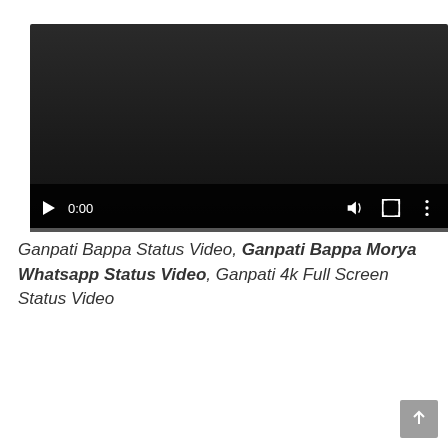[Figure (screenshot): Embedded video player with dark background, play button, 0:00 time display, volume icon, fullscreen icon, and options icon, with a progress bar at the bottom.]
Ganpati Bappa Status Video, Ganpati Bappa Morya Whatsapp Status Video, Ganpati 4k Full Screen Status Video